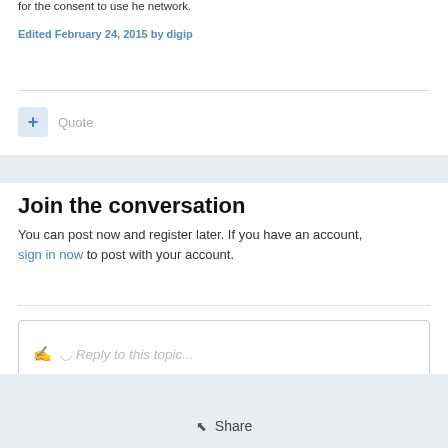for the consent to use he network.
Edited February 24, 2015 by digip
+ Quote
Join the conversation
You can post now and register later. If you have an account, sign in now to post with your account.
Reply to this topic...
Share